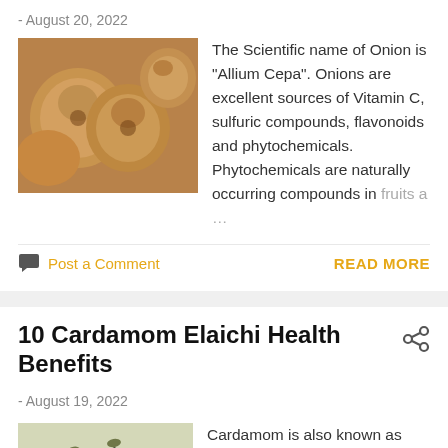- August 20, 2022
[Figure (photo): Photo of onions, brown/golden colored bulbs clustered together]
The Scientific name of Onion is "Allium Cepa". Onions are excellent sources of Vitamin C, sulfuric compounds, flavonoids and phytochemicals. Phytochemicals are naturally occurring compounds in fruits a …
Post a Comment
READ MORE
10 Cardamom Elaichi Health Benefits
- August 19, 2022
[Figure (photo): Photo of cardamom pods, green/brown colored, scattered]
Cardamom is also known as Elaichi in Hindi language. It is a popular condiment added in